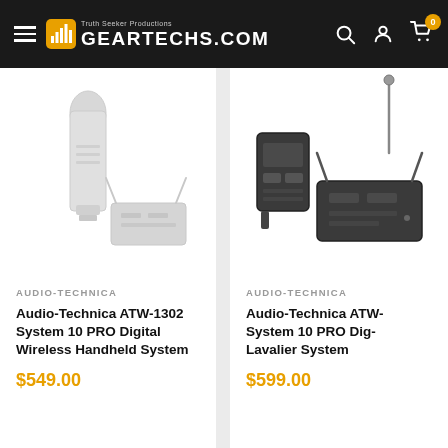GEARTECHS.COM — Truth Seeker Productions
[Figure (photo): Audio-Technica ATW-1302 System 10 PRO Digital Wireless Handheld System product photo — handheld microphone and receiver in light gray]
AUDIO-TECHNICA
Audio-Technica ATW-1302 System 10 PRO Digital Wireless Handheld System
$549.00
[Figure (photo): Audio-Technica ATW System 10 PRO Digital Wireless Lavalier System product photo — bodypack transmitter, receiver, and lavalier microphone in dark gray]
AUDIO-TECHNICA
Audio-Technica ATW- System 10 PRO Digital Wireless Lavalier System
$599.00